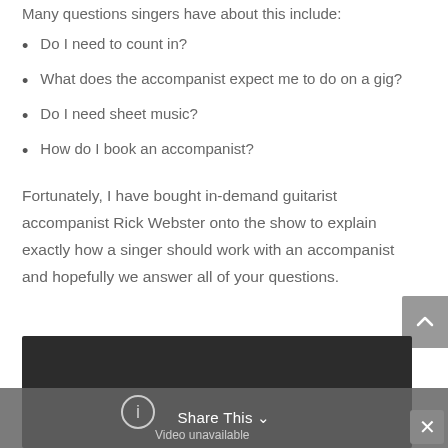Many questions singers have about this include:
Do I need to count in?
What does the accompanist expect me to do on a gig?
Do I need sheet music?
How do I book an accompanist?
Fortunately, I have bought in-demand guitarist accompanist Rick Webster onto the show to explain exactly how a singer should work with an accompanist and hopefully we answer all of your questions.
[Figure (screenshot): Embedded video player showing 'Video unavailable' message with a dark background and a share/close bar overlay at the bottom.]